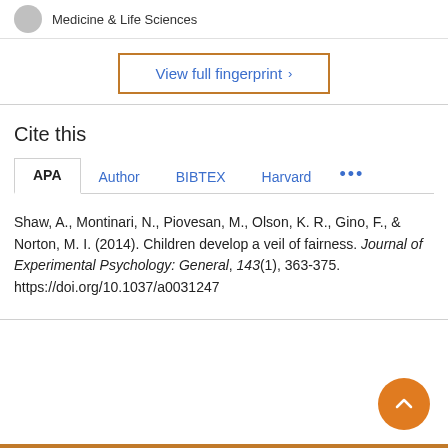Medicine & Life Sciences
View full fingerprint ›
Cite this
APA   Author   BIBTEX   Harvard   ...
Shaw, A., Montinari, N., Piovesan, M., Olson, K. R., Gino, F., & Norton, M. I. (2014). Children develop a veil of fairness. Journal of Experimental Psychology: General, 143(1), 363-375. https://doi.org/10.1037/a0031247